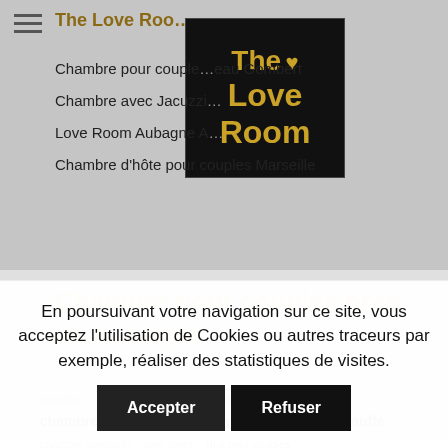The Love Room
[Figure (logo): The Love Room logo: black background with gold text 'The ♥ Love Room']
Chambre pour couple … eau Gombert
Chambre avec Jacuzzi …
Love Room Aubagne A…
Chambre d'hôte pour couples Marseille
Chambre pour couples près de Aubagne
chambre   château gombert   allauch
chambre pour couples   sensuelle   jacuzzi chauffé
chambre sensuelle   love room   Nuit pour couples
En poursuivant votre navigation sur ce site, vous acceptez l'utilisation de Cookies ou autres traceurs par exemple, réaliser des statistiques de visites.